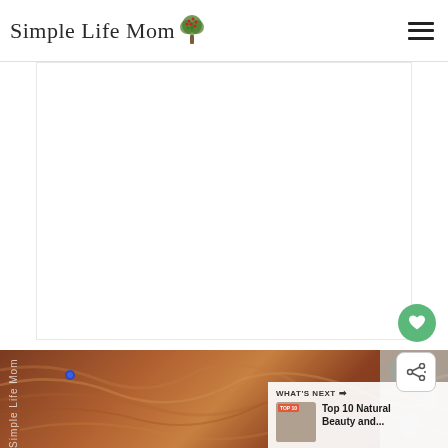Simple Life Mom
[Figure (screenshot): Website screenshot of Simple Life Mom blog. Header with logo (Simple Life Mom with tree icon) and hamburger menu. White content area below. Bottom portion shows a photo of reddish-brown hair with a watermark 'Simple Life Mom'. A 'What's Next' overlay shows 'Top 10 Natural Beauty and...' with a thumbnail. Heart and share icon buttons visible on right side.]